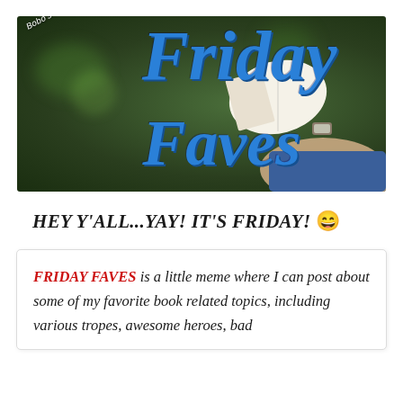[Figure (illustration): Banner image with dark green background showing a person holding an open book, with decorative blue cursive text reading 'Friday Faves' and smaller italic text 'Bobo's Boo[k Blog]' in the top left corner.]
HEY Y'ALL...YAY! IT'S FRIDAY! 😄
FRIDAY FAVES is a little meme where I can post about some of my favorite book related topics, including various tropes, awesome heroes, bad